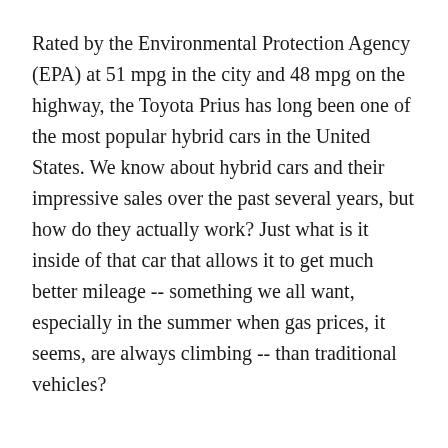Rated by the Environmental Protection Agency (EPA) at 51 mpg in the city and 48 mpg on the highway, the Toyota Prius has long been one of the most popular hybrid cars in the United States. We know about hybrid cars and their impressive sales over the past several years, but how do they actually work? Just what is it inside of that car that allows it to get much better mileage -- something we all want, especially in the summer when gas prices, it seems, are always climbing -- than traditional vehicles?